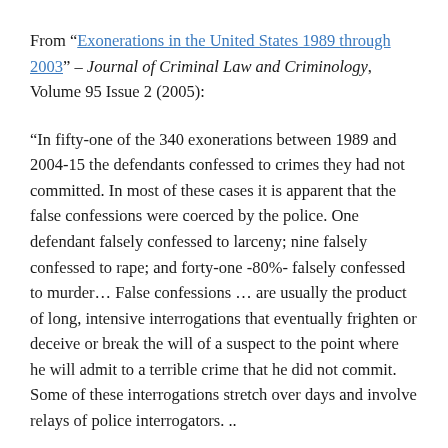From “Exonerations in the United States 1989 through 2003” – Journal of Criminal Law and Criminology, Volume 95 Issue 2 (2005):
“In fifty-one of the 340 exonerations between 1989 and 2004-15 the defendants confessed to crimes they had not committed. In most of these cases it is apparent that the false confessions were coerced by the police. One defendant falsely confessed to larceny; nine falsely confessed to rape; and forty-one -80%- falsely confessed to murder… False confessions … are usually the product of long, intensive interrogations that eventually frighten or deceive or break the will of a suspect to the point where he will admit to a terrible crime that he did not commit. Some of these interrogations stretch over days and involve relays of police interrogators. ..
False confessions are heavily concentrated among the most vulnerable groups of innocent defendants. Thirty-three of the